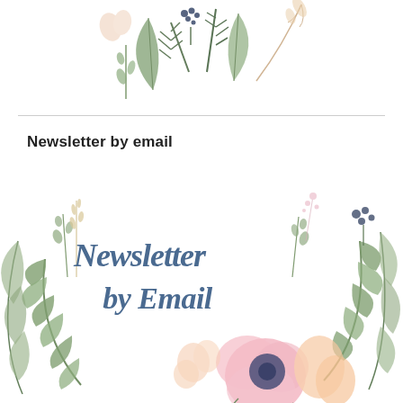[Figure (illustration): Watercolor floral arrangement at the top of the page with green leaves, fern fronds, dark blue berries, and peach/beige flower petals]
Newsletter by email
[Figure (illustration): Circular watercolor floral wreath with green leaves, eucalyptus, pink and peach flowers, with decorative script text 'Newsletter by Email' in steel blue color in the center]